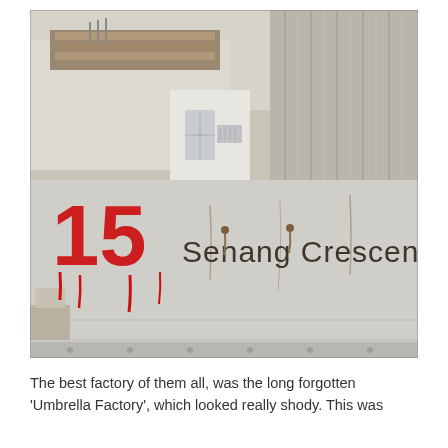[Figure (photo): Photograph of a concrete wall with red spray-painted number '15' and stenciled text reading 'Senang Crescent'. Behind the wall are industrial buildings and a large corrugated concrete silo. Construction materials including metal sheets are visible on the rooftop.]
The best factory of them all, was the long forgotten 'Umbrella Factory', which looked really shody. This was